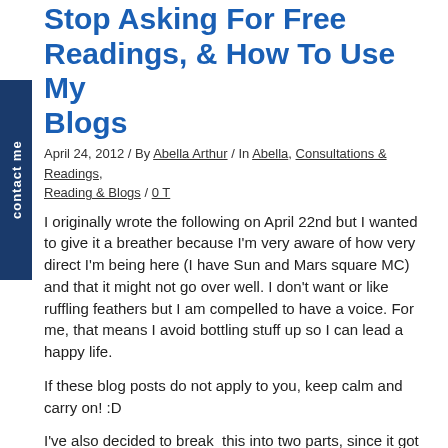Stop Asking For Free Readings, & How To Use My Blogs
April 24, 2012 / By Abella Arthur / In Abella, Consultations & Readings, Reading & Blogs / 0 T
I originally wrote the following on April 22nd but I wanted to give it a breather because I'm very aware of how very direct I'm being here (I have Sun and Mars square MC) and that it might not go over well. I don't want or like ruffling feathers but I am compelled to have a voice. For me, that means I avoid bottling stuff up so I can lead a happy life.
If these blog posts do not apply to you, keep calm and carry on! :D
I've also decided to break  this into two parts, since it got very long!
...